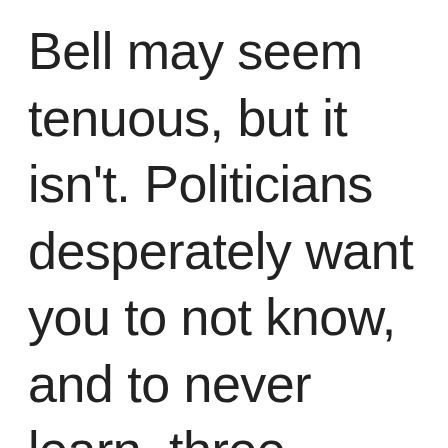Bell may seem tenuous, but it isn't. Politicians desperately want you to not know, and to never learn, three things: